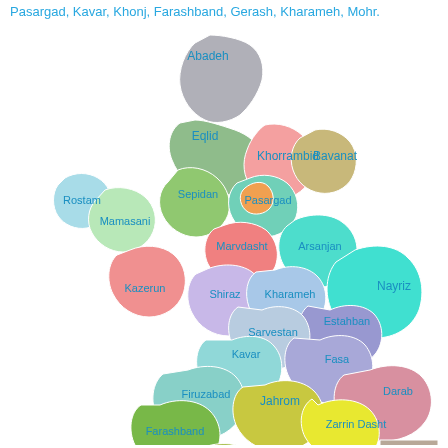Pasargad, Kavar, Khonj, Farashband, Gerash, Kharameh, Mohr.
[Figure (map): Color-coded administrative map of Fars Province, Iran, showing counties including Abadeh, Eqlid, Khorrambid, Bavanat, Rostam, Mamasani, Sepidan, Pasargad, Marvdasht, Arsanjan, Kazerun, Shiraz, Kharameh, Nayriz, Sarvestan, Kavar, Estahban, Firuzabad, Fasa, Farashband, Jahrom, Darab, Qir and Karzin, Zarrin Dasht, Khonj, Mohr, Gerash, Larestan]